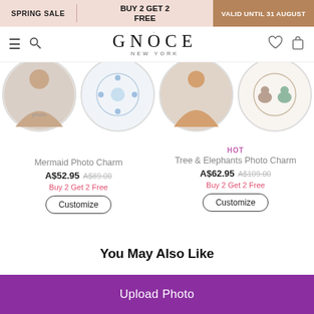SPRING SALE | BUY 2 GET 2 FREE | VALID UNTIL 31 AUGUST
[Figure (screenshot): GNOCE NEW YORK navigation bar with hamburger menu, search icon, logo, heart and bag icons]
[Figure (photo): Four circular jewelry product images: Mermaid Photo Charm and Tree & Elephants Photo Charm, partially cropped at top]
HOT
Mermaid Photo Charm
A$52.95  A$89.00
Buy 2 Get 2 Free
Customize
Tree & Elephants Photo Charm
A$62.95  A$109.00
Buy 2 Get 2 Free
Customize
You May Also Like
Upload Photo